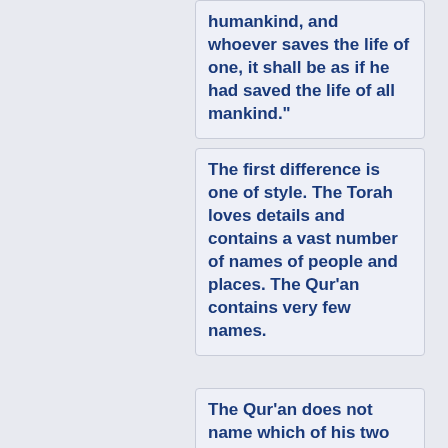humankind, and whoever saves the life of one, it shall be as if he had saved the life of all mankind."
The first difference is one of style. The Torah loves details and contains a vast number of names of people and places. The Qur'an contains very few names.
The Qur'an does not name which of his two